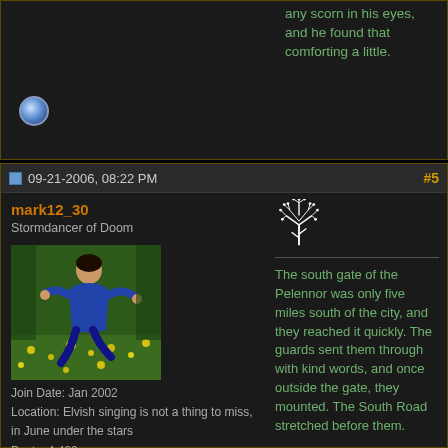any scorn in his eyes, and he found that comforting a little.
[Figure (illustration): Globe/orb icon in blue-grey tones]
09-21-2006, 08:22 PM
#5
mark12_30
Stormdancer of Doom
[Figure (photo): Person in blue outfit leaping/dancing among yellow flowers and green foliage]
Join Date: Jan 2002
Location: Elvish singing is not a thing to miss, in June under the stars
Posts: 4,402
[Figure (illustration): Orange pixel walking person icon]
[Figure (illustration): Decorative red/orange Y icon]
[Figure (illustration): White tree of Gondor symbol]
The south gate of the Pelennor was only five miles south of the city, and they reached it quickly. The guards sent them through with kind words, and once outside the gate, they mounted. The South Road stretched before them.

Erebemlin studied Mellondu silently; Mellondu glared at him in defiance. Erebemlin led; Mellondu rode second; Nethwador joined Taitheneb, and nearby on his faithful bay rode Ædegard. Liornung, Ravion, Raefindan, and Aeron brought up the rear. Liornung chatted with Raefindan, explaining what